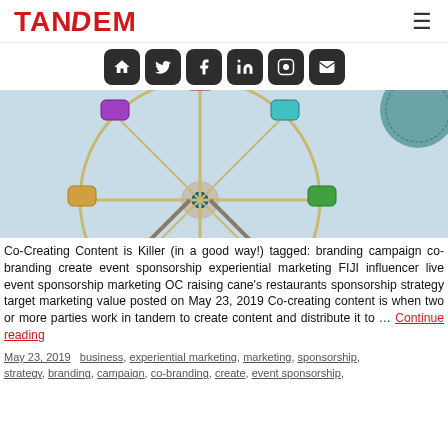TANDEM
[Figure (illustration): Row of six dark rounded-square social media icons: home, Twitter, Facebook, LinkedIn, Instagram, email]
[Figure (photo): Colorful Ferris wheel against a light blue sky, with a partial teal circular badge visible at top-right]
Co-Creating Content is Killer (in a good way!) tagged: branding campaign co-branding create event sponsorship experiential marketing FIJI influencer live event sponsorship marketing OC raising cane's restaurants sponsorship strategy target marketing value posted on May 23, 2019 Co-creating content is when two or more parties work in tandem to create content and distribute it to … Continue reading
May 23, 2019   business, experiential marketing, marketing, sponsorship, strategy, branding, campaign, co-branding, create, event sponsorship,